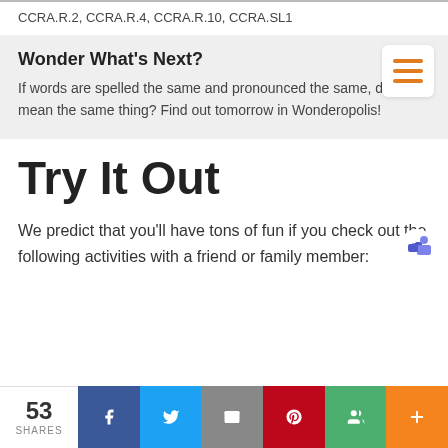CCRA.R.2, CCRA.R.4, CCRA.R.10, CCRA.SL1
Wonder What's Next?
If words are spelled the same and pronounced the same, do they mean the same thing? Find out tomorrow in Wonderopolis!
Try It Out
We predict that you'll have tons of fun if you check out the following activities with a friend or family member:
53 SHARES | Facebook | Twitter | Email | Pinterest | Google+ | More